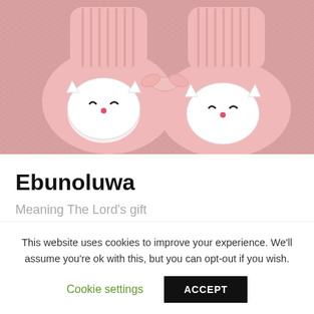[Figure (photo): Close-up photo of pink knitted baby booties with cute owl/cat face appliques featuring closed eyes and small red noses, placed on a white textured knit surface]
Ebunoluwa
Meaning The Lord's gift
This website uses cookies to improve your experience. We'll assume you're ok with this, but you can opt-out if you wish.
Cookie settings   ACCEPT